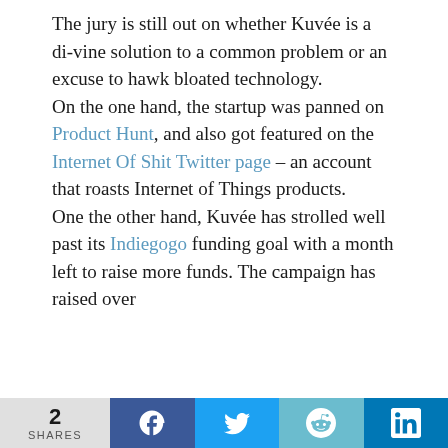The jury is still out on whether Kuvée is a di-vine solution to a common problem or an excuse to hawk bloated technology.
On the one hand, the startup was panned on Product Hunt, and also got featured on the Internet Of Shit Twitter page – an account that roasts Internet of Things products.
One the other hand, Kuvée has strolled well past its Indiegogo funding goal with a month left to raise more funds. The campaign has raised over
2 SHARES | Facebook | Twitter | Reddit | LinkedIn